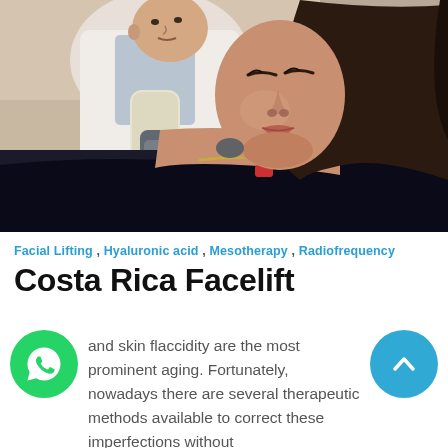[Figure (photo): Doctor in white coat and gloves applying a medical handheld device to the neck/chin area of a woman with dark hair lying back with eyes closed, in a clinical setting.]
Facial Lifting , Hyaluronic acid , Mesotherapy , Radiofrequency
Costa Rica Facelift
and skin flaccidity are the most prominent aging. Fortunately, nowadays there are several therapeutic methods available to correct these imperfections without